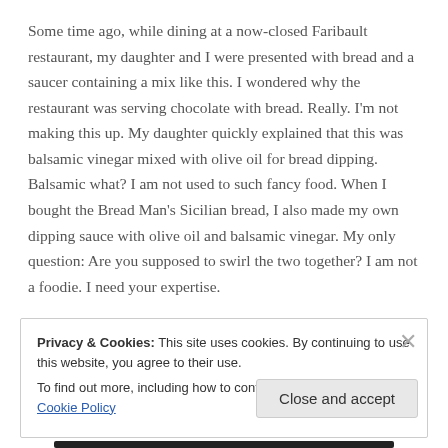Some time ago, while dining at a now-closed Faribault restaurant, my daughter and I were presented with bread and a saucer containing a mix like this. I wondered why the restaurant was serving chocolate with bread. Really. I'm not making this up. My daughter quickly explained that this was balsamic vinegar mixed with olive oil for bread dipping. Balsamic what? I am not used to such fancy food. When I bought the Bread Man's Sicilian bread, I also made my own dipping sauce with olive oil and balsamic vinegar. My only question: Are you supposed to swirl the two together? I am not a foodie. I need your expertise.
Privacy & Cookies: This site uses cookies. By continuing to use this website, you agree to their use.
To find out more, including how to control cookies, see here: Cookie Policy
Close and accept